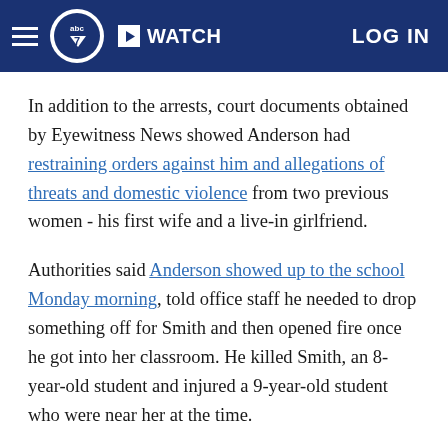ABC7 Eyewitness News — WATCH | LOG IN
In addition to the arrests, court documents obtained by Eyewitness News showed Anderson had restraining orders against him and allegations of threats and domestic violence from two previous women - his first wife and a live-in girlfriend.
Authorities said Anderson showed up to the school Monday morning, told office staff he needed to drop something off for Smith and then opened fire once he got into her classroom. He killed Smith, an 8-year-old student and injured a 9-year-old student who were near her at the time.